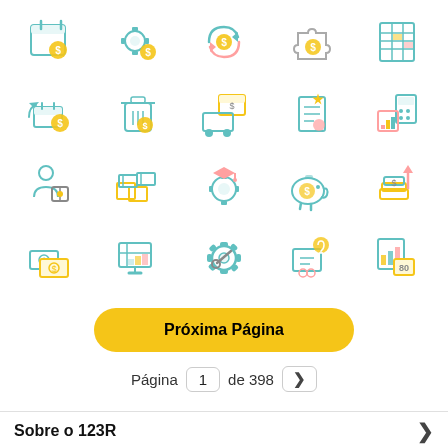[Figure (illustration): Grid of 20 colorful finance/business icons arranged in 4 rows and 5 columns, depicting themes such as calendar with dollar, gear with dollar, money cycle, puzzle coin, spreadsheet, shop/cart, trash with dollar, delivery/money, star receipt, calculator/chart, businessman, boxes, graduation/gear, piggy bank, money stack, dollar bills, computer screen, settings gear, diploma/light bulb, chart report]
Próxima Página
Página  1  de 398  >
Sobre o 123R